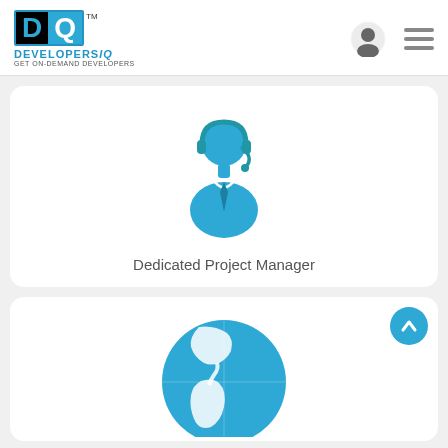[Figure (logo): DevelopersIQ logo with D in black square and Q in cyan square, with TM mark, DEVELOPERSIQ text, and GET ON-DEMAND DEVELOPERS tagline]
[Figure (illustration): Cyan icon of a person wearing a headset/microphone, representing a project manager or support agent]
Dedicated Project Manager
[Figure (illustration): Cyan globe/world map icon showing Americas, representing global reach]
[Figure (illustration): Cyan circular scroll-to-top button with upward arrow]